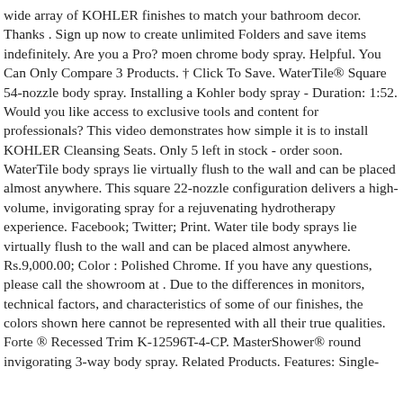wide array of KOHLER finishes to match your bathroom decor. Thanks . Sign up now to create unlimited Folders and save items indefinitely. Are you a Pro? moen chrome body spray. Helpful. You Can Only Compare 3 Products. † Click To Save. WaterTile® Square 54-nozzle body spray. Installing a Kohler body spray - Duration: 1:52. Would you like access to exclusive tools and content for professionals? This video demonstrates how simple it is to install KOHLER Cleansing Seats. Only 5 left in stock - order soon. WaterTile body sprays lie virtually flush to the wall and can be placed almost anywhere. This square 22-nozzle configuration delivers a high-volume, invigorating spray for a rejuvenating hydrotherapy experience. Facebook; Twitter; Print. Water tile body sprays lie virtually flush to the wall and can be placed almost anywhere. Rs.9,000.00; Color : Polished Chrome. If you have any questions, please call the showroom at . Due to the differences in monitors, technical factors, and characteristics of some of our finishes, the colors shown here cannot be represented with all their true qualities. Forte ® Recessed Trim K-12596T-4-CP. MasterShower® round invigorating 3-way body spray. Related Products. Features: Single-